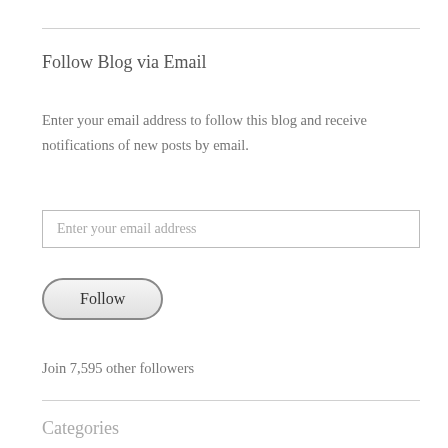Follow Blog via Email
Enter your email address to follow this blog and receive notifications of new posts by email.
Enter your email address
Follow
Join 7,595 other followers
Categories